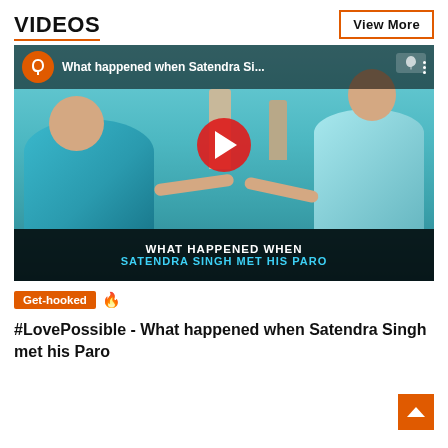VIDEOS
View More
[Figure (screenshot): YouTube video thumbnail showing two people reaching toward each other near water. Title bar reads 'What happened when Satendra Si...' with orange hook logo. Bottom caption overlay reads 'WHAT HAPPENED WHEN SATENDRA SINGH MET HIS PARO'. Large red YouTube play button in center.]
Get-hooked 🔥
#LovePossible - What happened when Satendra Singh met his Paro